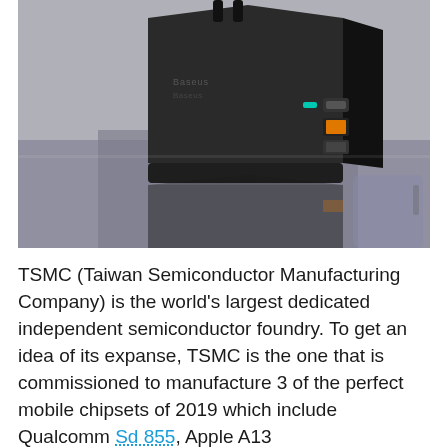[Figure (photo): A black Baseus multi-port USB wall charger (with EU plug prongs at top and USB-A/USB-C ports on the right side) sitting on a reflective surface, with its reflection visible below. The charger has a teal LED indicator light.]
TSMC (Taiwan Semiconductor Manufacturing Company) is the world's largest dedicated independent semiconductor foundry. To get an idea of its expanse, TSMC is the one that is commissioned to manufacture 3 of the perfect mobile chipsets of 2019 which include Qualcomm Sd 855, Apple A13